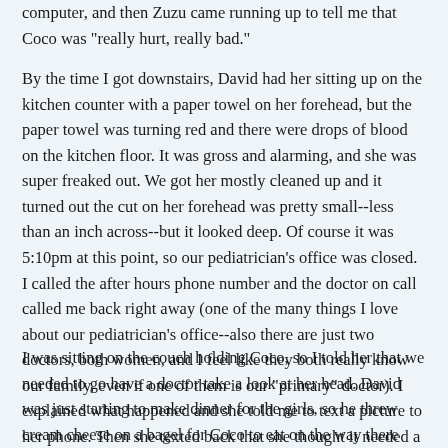computer, and then Zuzu came running up to tell me that Coco was "really hurt, really bad."
By the time I got downstairs, David had her sitting up on the kitchen counter with a paper towel on her forehead, but the paper towel was turning red and there were drops of blood on the kitchen floor. It was gross and alarming, and she was super freaked out. We got her mostly cleaned up and it turned out the cut on her forehead was pretty small--less than an inch across--but it looked deep. Of course it was 5:10pm at this point, so our pediatrician's office was closed. I called the after hours phone number and the doctor on call called me back right away (one of the many things I love about our pediatrician's office--also there are just two doctors, both women, and I feel like they both really know our family, even if one of them is our "primary" doctor). I explained what happened and she told me to text a picture to her phone. Then she texted back that she thought it needed a couple of sutures so we should probably go to the emergency room.
I was sitting on the couch holding Coco, so I told her that we needed to go have a doctor take a look at her head. David was just starting to make dinner for the girls, so he threw cream cheese on a bagel for Coco to eat on the way there and I cleaned up the...